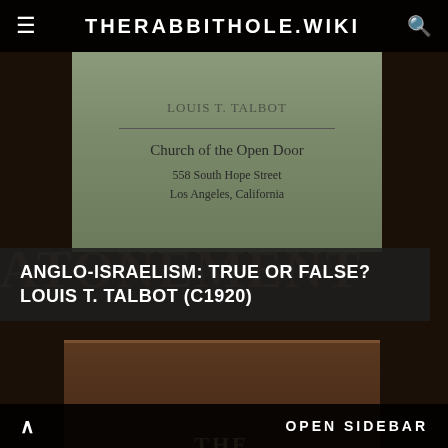THERABBITHOLE.WIKI
[Figure (photo): Scan of a green/sage book cover showing 'Church of the Open Door, 558 South Hope Street, Los Angeles, California' with an author name partially visible above]
ANGLO-ISRAELISM: TRUE OR FALSE? LOUIS T. TALBOT (c1920)
[Figure (photo): Scan of a brown hardcover book titled 'THE ANCIENT WISDOM' by ANNIE BESANT]
OPEN SIDEBAR